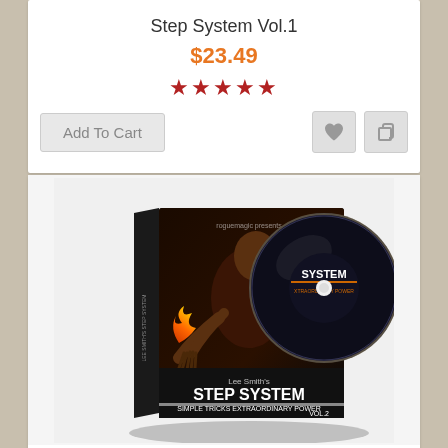Step System Vol.1
$23.49
★★★★★
Add To Cart
[Figure (photo): DVD case and disc for Lee Smith's Step System Vol.2 - Simple Tricks Extraordinary Power, showing a magician with fire in hands on the cover]
Step System Vol.2
$23.49
Not Rated Yet